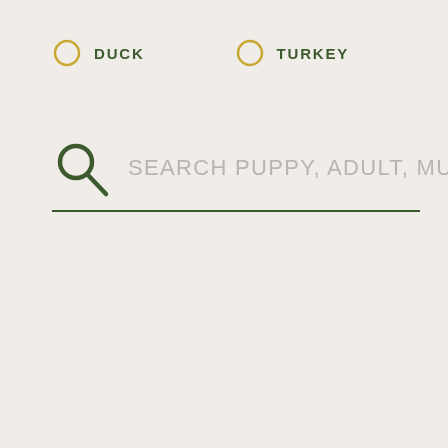[Figure (screenshot): Filter options: two radio button circles labeled DUCK and TURKEY in golden-yellow outline with dark green text, and a search bar with magnifying glass icon and placeholder text 'SEARCH PUPPY, ADULT, MULTIPA...' with a dark green underline, on a cream/beige background.]